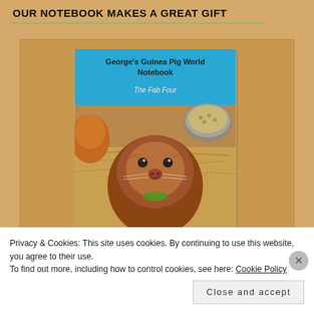OUR NOTEBOOK MAKES A GREAT GIFT
[Figure (illustration): Book cover of George's Guinea Pig World Notebook - The Fab Four, showing a guinea pig looking at camera surrounded by hay, with a blue header and food bowl visible]
GEORGE'S GUINEA PIG WORLD NOTEBOOK
Privacy & Cookies: This site uses cookies. By continuing to use this website, you agree to their use.
To find out more, including how to control cookies, see here: Cookie Policy
Close and accept